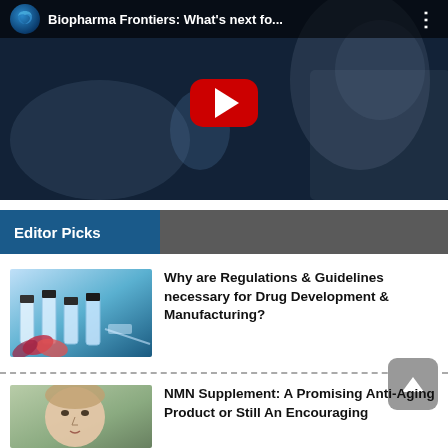[Figure (screenshot): YouTube video thumbnail for 'Biopharma Frontiers: What's next fo...' showing a person in lab coat and gloves holding a flask, with YouTube play button overlay and channel logo]
Editor Picks
[Figure (photo): Thumbnail image of pharmaceutical vials and pills/capsules on blue background]
Why are Regulations & Guidelines necessary for Drug Development & Manufacturing?
[Figure (photo): Thumbnail image of a woman's face for NMN Supplement anti-aging article]
NMN Supplement: A Promising Anti-Aging Product or Still An Encouraging